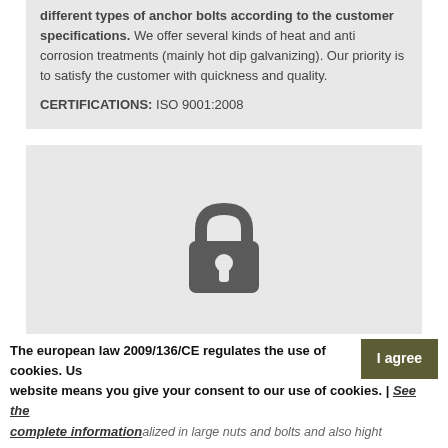different types of anchor bolts according to the customer specifications. We offer several kinds of heat and anti corrosion treatments (mainly hot dip galvanizing). Our priority is to satisfy the customer with quickness and quality.

CERTIFICATIONS: ISO 9001:2008
[Figure (illustration): Lock icon with 'INFORMATION RESTRICTED TO THE REGISTERED USERS' text below it, on a gray background]
POLAND
The european law 2009/136/CE regulates the use of cookies. Using this website means you give your consent to our use of cookies. | See the complete information
alized in large nuts and bolts and also hight